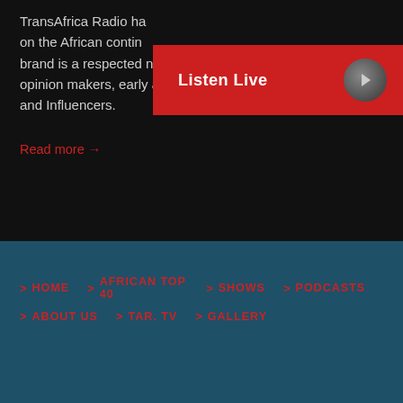TransAfrica Radio ha... on the African contin... brand is a respected name within the community of opinion makers, early adopters of trends & technology and Influencers.
[Figure (infographic): Listen Live red banner with play button]
Read more →
> HOME
> AFRICAN TOP 40
> SHOWS
> PODCASTS
> ABOUT US
> TAR. TV
> GALLERY